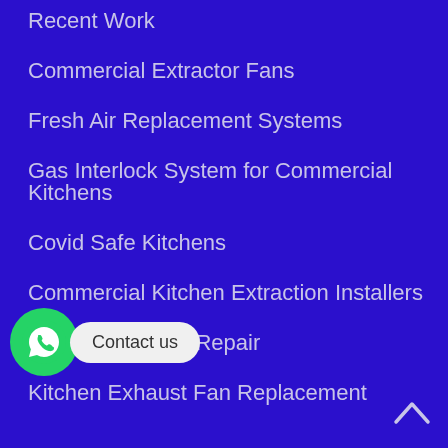Recent Work
Commercial Extractor Fans
Fresh Air Replacement Systems
Gas Interlock System for Commercial Kitchens
Covid Safe Kitchens
Commercial Kitchen Extraction Installers
Commercial Fan Repair
Kitchen Exhaust Fan Replacement
Commercial Extractor Fan Repairs Near Me
[Figure (illustration): WhatsApp contact button with green circle icon and 'Contact us' speech bubble overlay]